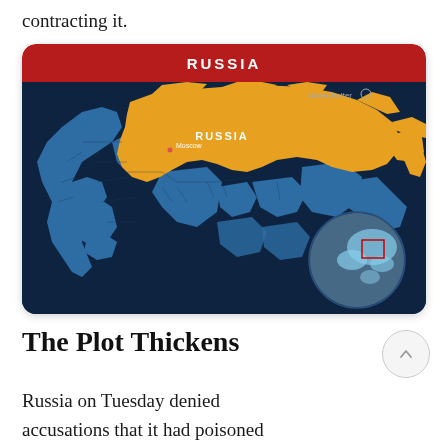contracting it.
[Figure (map): Map of Russia highlighted in orange/yellow on a dark navy background, with surrounding countries in blue. Moscow is marked with a red dot. A circular inset globe in the bottom right shows the region's location in Asia. A red rounded banner at the top reads 'RUSSIA'. DailyChatter logo in top right corner.]
The Plot Thickens
Russia on Tuesday denied accusations that it had poisoned